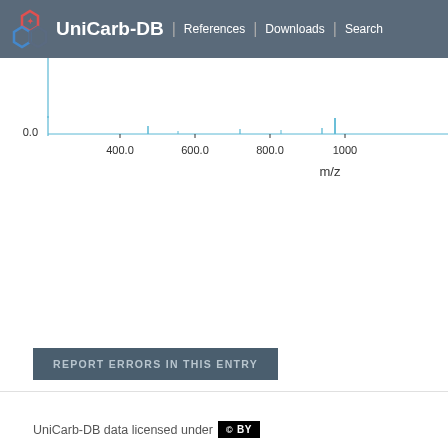UniCar-DB | References | Downloads | Search
[Figure (continuous-plot): Partial mass spectrum (m/z) chart showing x-axis with values 400.0, 600.0, 800.0, 1000 and y-axis label 0.0. Axis label m/z shown below x-axis. The plot shows a baseline with very small peaks, mostly flat. The visible portion is the bottom of the chart.]
REPORT ERRORS IN THIS ENTRY
UniCarb-DB data licensed under CC BY